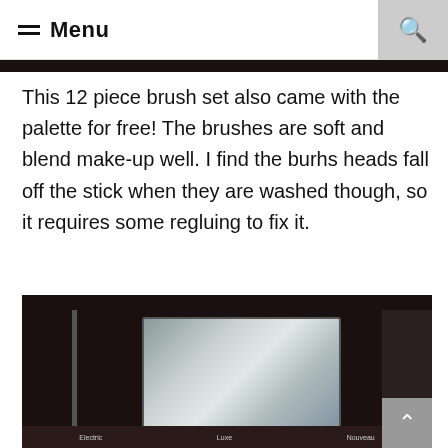≡ Menu
[Figure (photo): Top edge of a photo at the top of the page, showing a dark image strip.]
This 12 piece brush set also came with the palette for free! The brushes are soft and blend make-up well. I find the burhs heads fall off the stick when they are washed though, so it requires some regluing to fix it.
[Figure (photo): Photo of a makeup palette with a mirror showing a metallic reflection. Bottom of the palette has product labels. A scroll-to-top button is visible in the bottom right corner.]